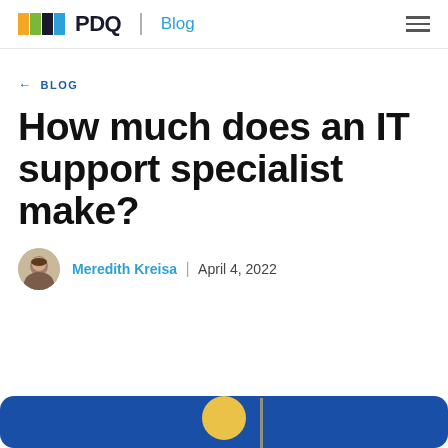PDQ Blog
← BLOG
How much does an IT support specialist make?
Meredith Kreisa | April 4, 2022
[Figure (illustration): Blue illustrated background image partially visible at bottom of page]